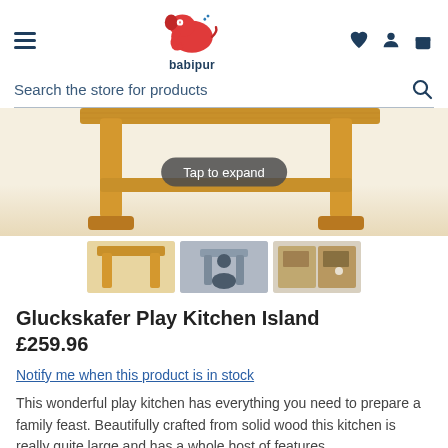babipur
Search the store for products
[Figure (photo): Product photo of Gluckskafer Play Kitchen Island showing wooden kitchen table legs from below, with a 'Tap to expand' overlay button. Three thumbnail images of the product are shown below.]
Gluckskafer Play Kitchen Island £259.96
Notify me when this product is in stock
This wonderful play kitchen has everything you need to prepare a family feast. Beautifully crafted from solid wood this kitchen is really quite large and has a whole host of features